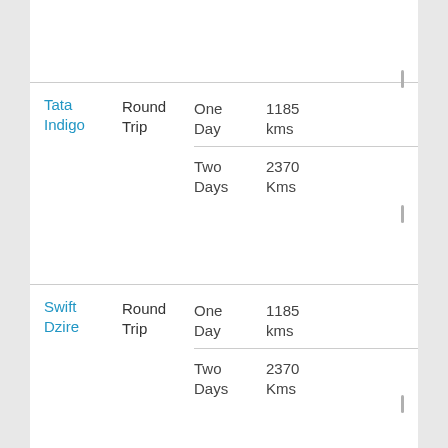| Car | Trip Type | Duration | Distance |
| --- | --- | --- | --- |
| Tata Indigo | Round Trip | One Day | 1185 kms |
| Tata Indigo | Round Trip | Two Days | 2370 Kms |
| Swift Dzire | Round Trip | One Day | 1185 kms |
| Swift Dzire | Round Trip | Two Days | 2370 Kms |